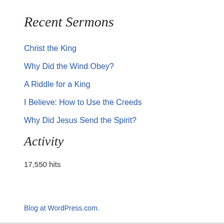Recent Sermons
Christ the King
Why Did the Wind Obey?
A Riddle for a King
I Believe: How to Use the Creeds
Why Did Jesus Send the Spirit?
Activity
17,550 hits
Blog at WordPress.com.